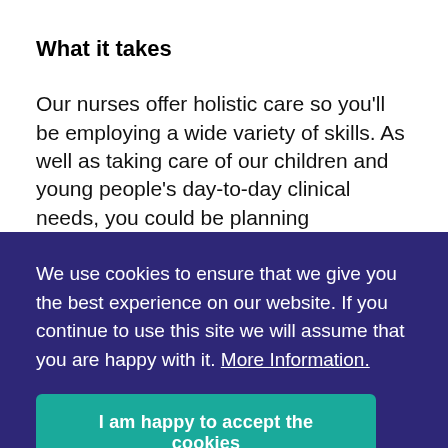What it takes
Our nurses offer holistic care so you’ll be employing a wide variety of skills. As well as taking care of our children and young people’s day-to-day clinical needs, you could be planning
We use cookies to ensure that we give you the best experience on our website. If you continue to use this site we will assume that you are happy with it. More Information.
I am happy to accept the cookies